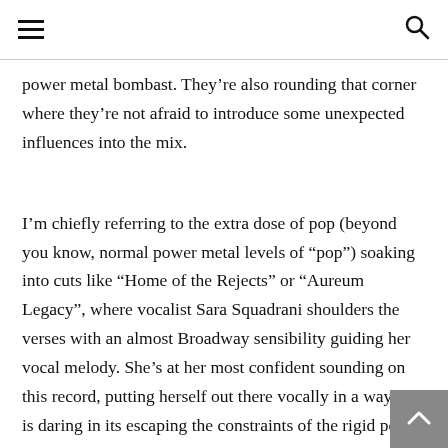[hamburger menu icon] [search icon]
power metal bombast. They’re also rounding that corner where they’re not afraid to introduce some unexpected influences into the mix.
I’m chiefly referring to the extra dose of pop (beyond you know, normal power metal levels of “pop”) soaking into cuts like “Home of the Rejects” or “Aureum Legacy”, where vocalist Sara Squadrani shoulders the verses with an almost Broadway sensibility guiding her vocal melody. She’s at her most confident sounding on this record, putting herself out there vocally in a way that is daring in its escaping the constraints of the rigid power metal structure Ancient Bards largely operates